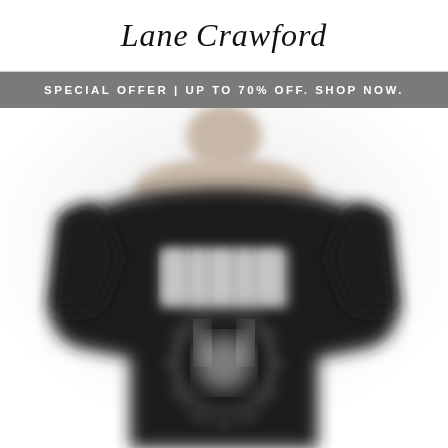Lane Crawford
SPECIAL OFFER | UP TO 70% OFF. SHOP NOW.
[Figure (photo): Blurred photo of a person wearing a black graphic t-shirt with a white sunburst/graphic design on the front. The image is intentionally blurred/out of focus.]